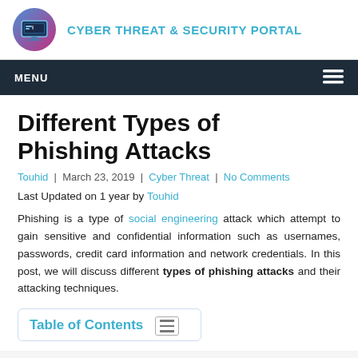CYBER THREAT & SECURITY PORTAL
MENU
Different Types of Phishing Attacks
Touhid | March 23, 2019 | Cyber Threat | No Comments
Last Updated on 1 year by Touhid
Phishing is a type of social engineering attack which attempt to gain sensitive and confidential information such as usernames, passwords, credit card information and network credentials. In this post, we will discuss different types of phishing attacks and their attacking techniques.
Table of Contents